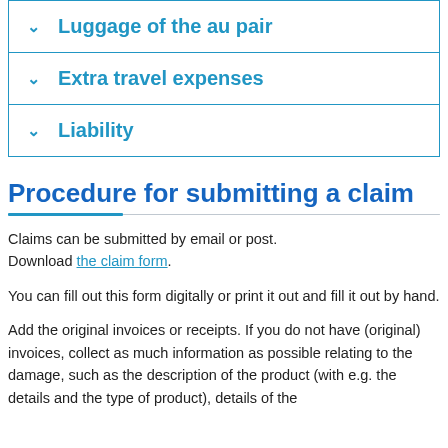Luggage of the au pair
Extra travel expenses
Liability
Procedure for submitting a claim
Claims can be submitted by email or post. Download the claim form.
You can fill out this form digitally or print it out and fill it out by hand.
Add the original invoices or receipts. If you do not have (original) invoices, collect as much information as possible relating to the damage, such as the description of the product (with e.g. the details and the type of product), details of the